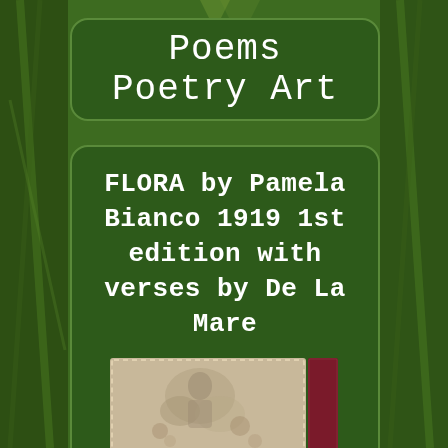Poems Poetry Art
FLORA by Pamela Bianco 1919 1st edition with verses by De La Mare
[Figure (photo): Photo of a book: Flora by Pamela Bianco, 1919 first edition, shown with a worn illustrated cover and a dark red spine with dashed border visible]